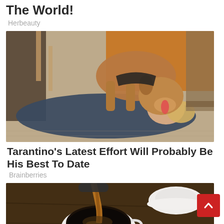The World!
Herbeauty
[Figure (photo): A dog licking a person's face while the person lies on the floor]
Tarantino's Latest Effort Will Probably Be His Best To Date
Brainberries
[Figure (photo): Coffee being poured into a white cup on a wooden surface with another cup in background]